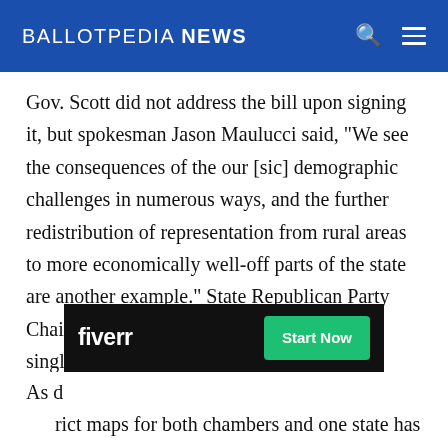BALLOTPEDIA NEWS
Gov. Scott did not address the bill upon signing it, but spokesman Jason Maulucci said, "We see the consequences of the our [sic] demographic challenges in numerous ways, and the further redistribution of representation from rural areas to more economically well-off parts of the state are another example." State Republican Party Chairman Paul Dame (R) said, "The mix of single- and double-member districts is problematic because, fundamentally, some Vermonters get twice as many votes as other Vermonters."
[Figure (other): Fiverr advertisement banner with Start Now button]
As d...trict maps for both chambers and one state has adopted